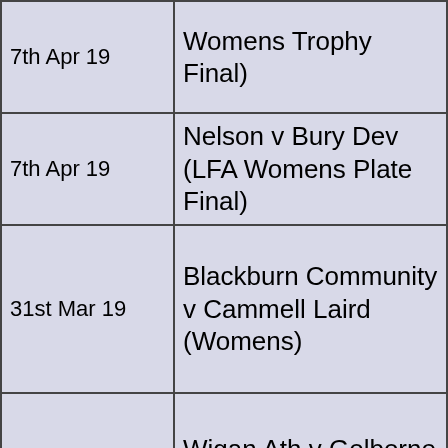| Date | Match |
| --- | --- |
| 7th Apr 19 | Womens Trophy Final) |
| 7th Apr 19 | Nelson v Bury Dev (LFA Womens Plate Final) |
| 31st Mar 19 | Blackburn Community v Cammell Laird (Womens) |
| 21st Mar 19 | Wigan Ath v Golborne (LFA Girls u15 CF) |